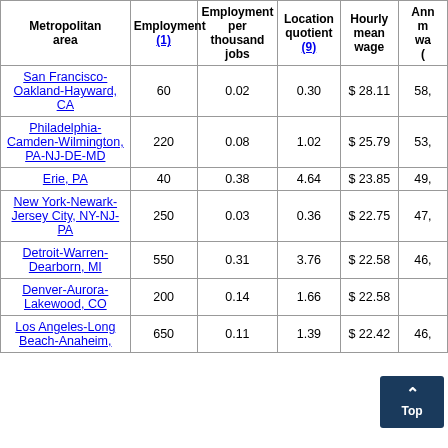| Metropolitan area | Employment (1) | Employment per thousand jobs | Location quotient (9) | Hourly mean wage | Ann. m... wa... ( |
| --- | --- | --- | --- | --- | --- |
| San Francisco-Oakland-Hayward, CA | 60 | 0.02 | 0.30 | $ 28.11 | 58, |
| Philadelphia-Camden-Wilmington, PA-NJ-DE-MD | 220 | 0.08 | 1.02 | $ 25.79 | 53, |
| Erie, PA | 40 | 0.38 | 4.64 | $ 23.85 | 49, |
| New York-Newark-Jersey City, NY-NJ-PA | 250 | 0.03 | 0.36 | $ 22.75 | 47, |
| Detroit-Warren-Dearborn, MI | 550 | 0.31 | 3.76 | $ 22.58 | 46, |
| Denver-Aurora-Lakewood, CO | 200 | 0.14 | 1.66 | $ 22.58 |  |
| Los Angeles-Long Beach-Anaheim, | 650 | 0.11 | 1.39 | $ 22.42 | 46, |